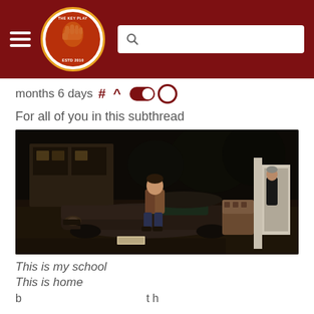The Key Play (navigation header with logo and search bar)
months 6 days # ^ [toggle]
For all of you in this subthread
[Figure (photo): A young man sitting on the hood of a vintage car in a suburban driveway at night, wearing a brown jacket. An older man stands in the background near a white structure. The scene appears to be a still from a TV show or movie.]
This is my school
This is home
(text cut off at bottom)